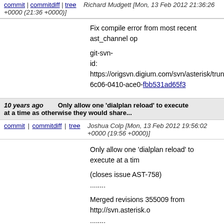commit | commitdiff | tree    Richard Mudgett [Mon, 13 Feb 2012 21:36:26 +0000 (21:36 +0000)]
Fix compile error from most recent ast_channel op

git-svn-id: https://origsvn.digium.com/svn/asterisk/trunk@6c06-0410-ace0-fbb531ad65f3
10 years ago   Only allow one 'dialplan reload' to execute at a time as otherwise they would share...
commit | commitdiff | tree   Joshua Colp [Mon, 13 Feb 2012 19:56:02 +0000 (19:56 +0000)]
Only allow one 'dialplan reload' to execute at a tim

(closes issue AST-758)
........

Merged revisions 355009 from http://svn.asterisk.o
........

Merged revisions 355010 from http://svn.asterisk.o

git-svn-id: https://origsvn.digium.com/svn/asterisk/trunk@6c06-0410-ace0-fbb531ad65f3